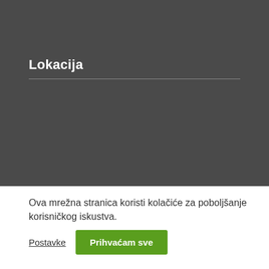Lokacija
Ova mrežna stranica koristi kolačiće za poboljšanje korisničkog iskustva.
Postavke
Prihvaćam sve